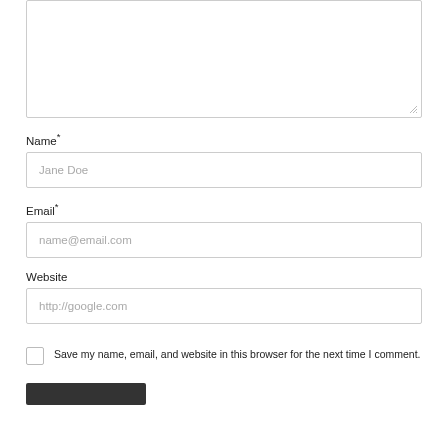[Figure (screenshot): A comment form with textarea, Name field (placeholder: Jane Doe), Email field (placeholder: name@email.com), Website field (placeholder: http://google.com), a checkbox with label 'Save my name, email, and website in this browser for the next time I comment.', and a submit button.]
Name*
Email*
Website
Save my name, email, and website in this browser for the next time I comment.